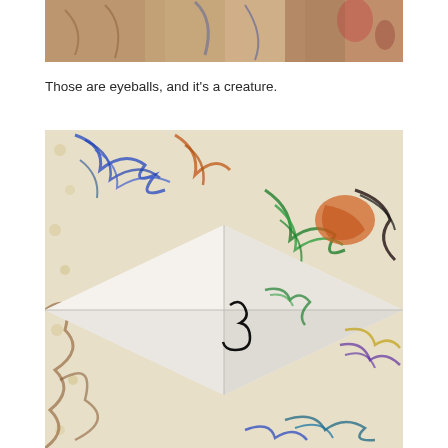[Figure (photo): Top portion of a paper fortune teller (cootie catcher) decorated with colorful crayon drawings, placed on a patterned fabric background with snowflake motifs.]
Those are eyeballs, and it's a creature.
[Figure (photo): Close-up photo of a paper fortune teller (cootie catcher) decorated with colorful crayon scribbles in blue, green, orange, brown, yellow, and purple, placed on a festive fabric with gold snowflake patterns.]